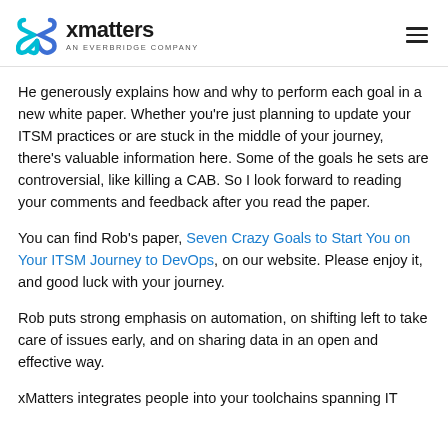xmatters AN EVERBRIDGE COMPANY
He generously explains how and why to perform each goal in a new white paper. Whether you’re just planning to update your ITSM practices or are stuck in the middle of your journey, there’s valuable information here. Some of the goals he sets are controversial, like killing a CAB. So I look forward to reading your comments and feedback after you read the paper.
You can find Rob’s paper, Seven Crazy Goals to Start You on Your ITSM Journey to DevOps, on our website. Please enjoy it, and good luck with your journey.
Rob puts strong emphasis on automation, on shifting left to take care of issues early, and on sharing data in an open and effective way.
xMatters integrates people into your toolchains spanning IT